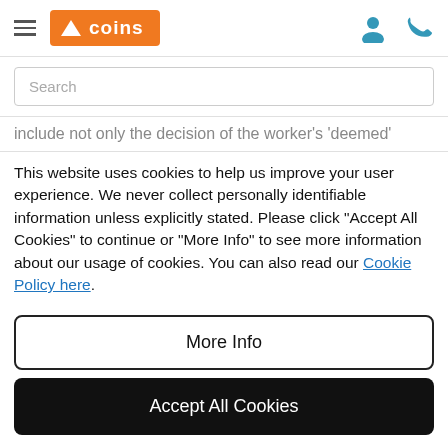[Figure (logo): COINS logo — orange rounded rectangle with white triangle/hat icon and 'coins' text in white]
Search
include not only the decision of the worker's 'deemed'
This website uses cookies to help us improve your user experience. We never collect personally identifiable information unless explicitly stated. Please click "Accept All Cookies" to continue or "More Info" to see more information about our usage of cookies. You can also read our Cookie Policy here.
More Info
Accept All Cookies